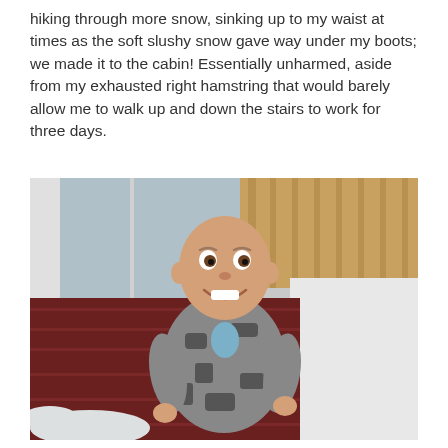hiking through more snow, sinking up to my waist at times as the soft slushy snow gave way under my boots; we made it to the cabin! Essentially unharmed, aside from my exhausted right hamstring that would barely allow me to walk up and down the stairs to work for three days.
[Figure (photo): A young smiling boy with a shaved head wearing a grey camouflage hoodie and blue shirt, standing on a snow-dusted wooden deck in front of a wooden cabin wall and sliding glass door. Snow is visible on the ground around him.]